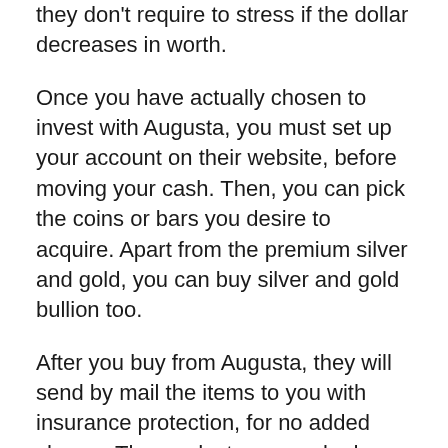they don't require to stress if the dollar decreases in worth.
Once you have actually chosen to invest with Augusta, you must set up your account on their website, before moving your cash. Then, you can pick the coins or bars you desire to acquire. Apart from the premium silver and gold, you can buy silver and gold bullion too.
After you buy from Augusta, they will send by mail the items to you with insurance protection, for no added charge. The products are packed firmly and also quietly to protect them completely.
Regal Assets.